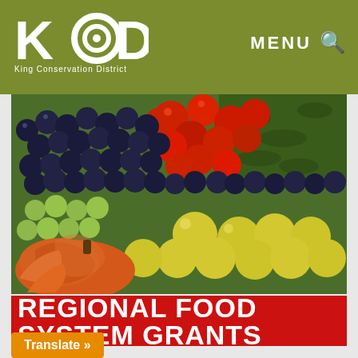King Conservation District — MENU (search icon)
[Figure (photo): A colorful display of fresh produce including blueberries, tomatoes, grapes, yellow citrus fruits, cucumbers, and a pumpkin arranged in rows at a market or farm stand]
REGIONAL FOOD SYSTEM GRANTS
Translate »